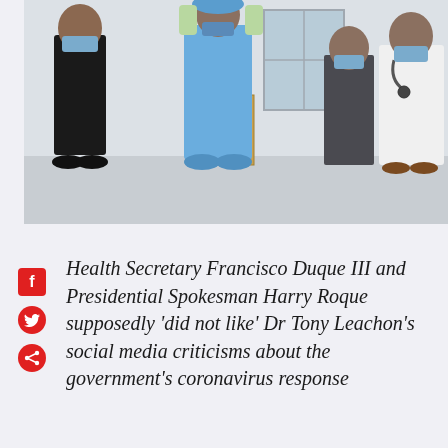[Figure (photo): Medical scene showing people in PPE gear (blue gown, gloves, mask) in what appears to be a hospital room. A healthcare worker in full PPE is standing in the center, a person in black jacket on the left, and a doctor in white coat with stethoscope on the right. A medical cart is visible in the background.]
Health Secretary Francisco Duque III and Presidential Spokesman Harry Roque supposedly 'did not like' Dr Tony Leachon's social media criticisms about the government's coronavirus response